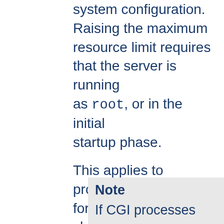system configuration. Raising the maximum resource limit requires that the server is running as root, or in the initial startup phase.
This applies to processes forked off from Apache children servicing requests, not the Apache children themselves. This includes CGI scripts and SSI exec commands, but not any processes forked off from the Apache parent such as piped logs.
Process limits control the number of processes per user.
Note
If CGI processes